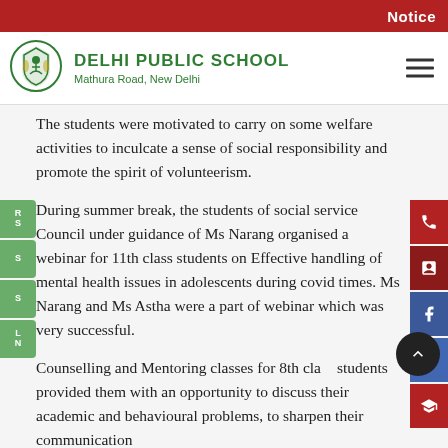Notice
[Figure (logo): Delhi Public School crest/shield logo in green and gold]
DELHI PUBLIC SCHOOL
Mathura Road, New Delhi
The students were motivated to carry on some welfare activities to inculcate a sense of social responsibility and promote the spirit of volunteerism.
During summer break, the students of social service Council under guidance of Ms Narang organised a webinar for 11th class students on Effective handling of mental health issues in adolescents during covid times. Ms Narang and Ms Astha were a part of webinar which was very successful.
Counselling and Mentoring classes for 8th class students provided them with an opportunity to discuss their academic and behavioural problems, to sharpen their communication